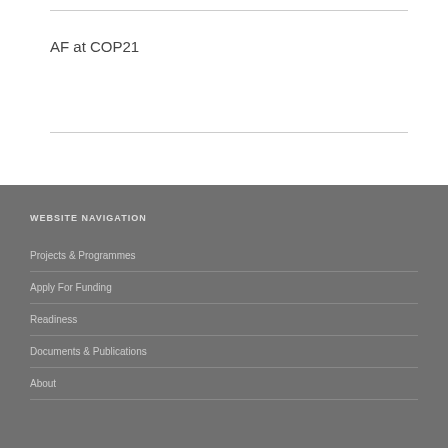AF at COP21
WEBSITE NAVIGATION
Projects & Programmes
Apply For Funding
Readiness
Documents & Publications
About